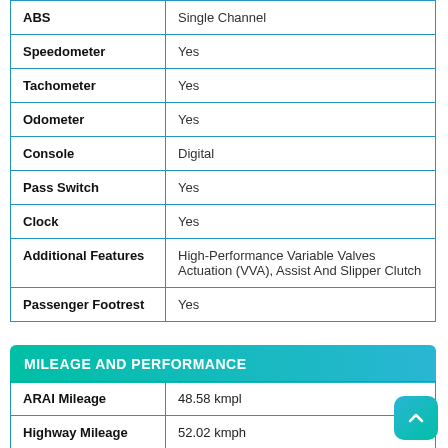| Feature | Value |
| --- | --- |
| ABS | Single Channel |
| Speedometer | Yes |
| Tachometer | Yes |
| Odometer | Yes |
| Console | Digital |
| Pass Switch | Yes |
| Clock | Yes |
| Additional Features | High-Performance Variable Valves Actuation (VVA), Assist And Slipper Clutch |
| Passenger Footrest | Yes |
MILEAGE AND PERFORMANCE
| Feature | Value |
| --- | --- |
| ARAI Mileage | 48.58 kmpl |
| Highway Mileage | 52.02 kmph |